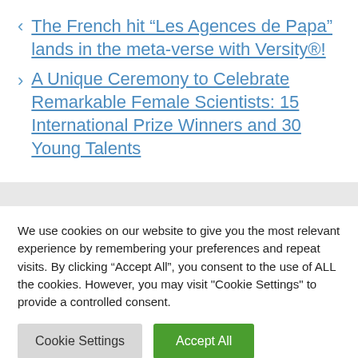< The French hit “Les Agences de Papa” lands in the meta-verse with Versity®!
> A Unique Ceremony to Celebrate Remarkable Female Scientists: 15 International Prize Winners and 30 Young Talents
We use cookies on our website to give you the most relevant experience by remembering your preferences and repeat visits. By clicking “Accept All”, you consent to the use of ALL the cookies. However, you may visit "Cookie Settings" to provide a controlled consent.